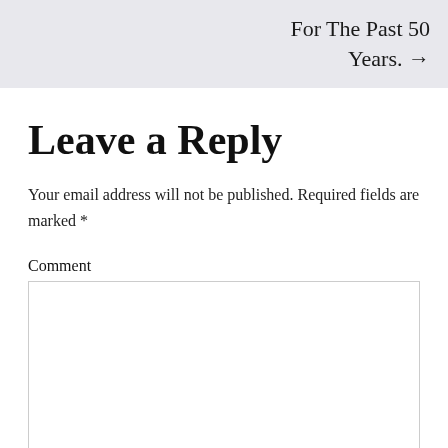For The Past 50 Years. →
Leave a Reply
Your email address will not be published. Required fields are marked *
Comment